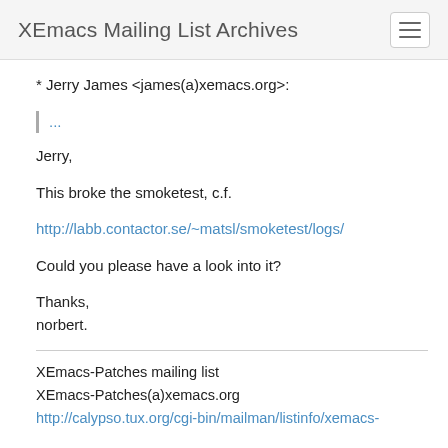XEmacs Mailing List Archives
* Jerry James <james(a)xemacs.org&gt;:
...
Jerry,
This broke the smoketest, c.f.
http://labb.contactor.se/~matsl/smoketest/logs/
Could you please have a look into it?
Thanks,
norbert.
XEmacs-Patches mailing list
XEmacs-Patches(a)xemacs.org
http://calypso.tux.org/cgi-bin/mailman/listinfo/xemacs-